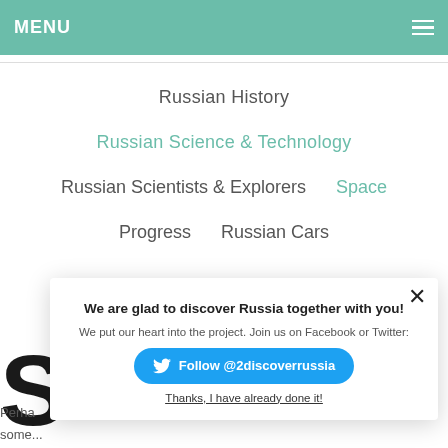MENU
Russian History
Russian Science & Technology
Russian Scientists & Explorers   Space
Progress   Russian Cars
[Figure (screenshot): Modal popup with Twitter follow prompt: 'We are glad to discover Russia together with you!' with a blue Follow @2discoverrussia button and a 'Thanks, I have already done it!' link]
Perha
some...